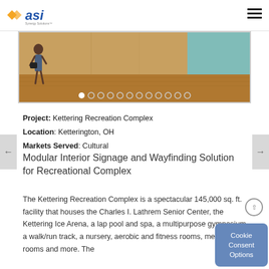[Figure (logo): ASI logo with orange diamond icon and blue 'asi' text with tagline]
[Figure (photo): Slideshow banner showing interior of recreation complex with person walking, warm tones and teal accent, with navigation dots and carousel indicators]
Project: Kettering Recreation Complex
Location: Ketterington, OH
Markets Served: Cultural
Modular Interior Signage and Wayfinding Solution for Recreational Complex
The Kettering Recreation Complex is a spectacular 145,000 sq. ft. facility that houses the Charles I. Lathrem Senior Center, the Kettering Ice Arena, a lap pool and spa, a multipurpose gymnasium, a walk/run track, a nursery, aerobic and fitness rooms, meeting rooms and more. The